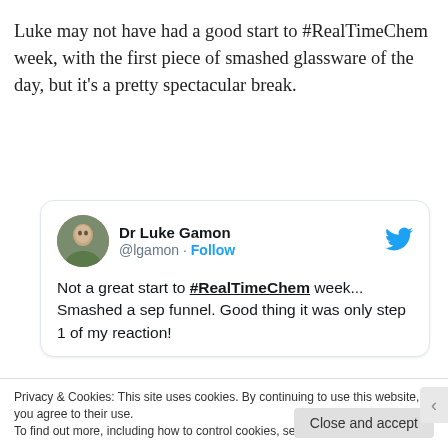Luke may not have had a good start to #RealTimeChem week, with the first piece of smashed glassware of the day, but it's a pretty spectacular break.
[Figure (screenshot): Embedded tweet from Dr Luke Gamon (@lgamon) with Follow button and Twitter bird logo. Tweet text: Not a great start to #RealTimeChem week... Smashed a sep funnel. Good thing it was only step 1 of my reaction!]
Privacy & Cookies: This site uses cookies. By continuing to use this website, you agree to their use.
To find out more, including how to control cookies, see here: Cookie Policy
Close and accept